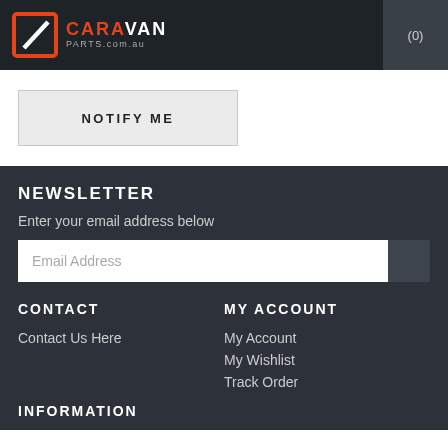CARAVAN PARTS.com.au (0)
NOTIFY ME
NEWSLETTER
Enter your email address below
Email Address
CONTACT
MY ACCOUNT
Contact Us Here
My Account
My Wishlist
Track Order
INFORMATION